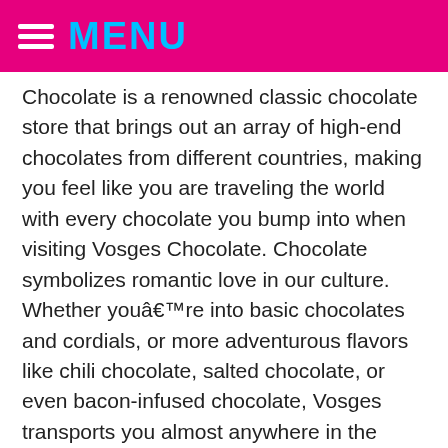MENU
Chocolate is a renowned classic chocolate store that brings out an array of high-end chocolates from different countries, making you feel like you are traveling the world with every chocolate you bump into when visiting Vosges Chocolate. Chocolate symbolizes romantic love in our culture. Whether youâre into basic chocolates and cordials, or more adventurous flavors like chili chocolate, salted chocolate, or even bacon-infused chocolate, Vosges transports you almost anywhere in the world with a single bite. This gift set includes roasted I.G.P. Here’s a more budget friendly, yet still luxe chocolate gift: Vosges’ Champagne Chocolate Truffles. each), Chocolove, Almonds and Sea Salt in Dark Chocolate, 3.2 oz, Lok Chocolate Bars Variety 3 Pack 100%, 58%, 37% Cacao LÃ¶k | Sugar-Free, Non-GMO, Vegan, Fair Trade, Bean-to-Bar, Gluten-Free, Kosher Certified, Paleo | 3 Flavors, 3 Ounce each, Spokandy 15 Piece Premium Boxed Chocolate Assortments (Dark Chocolate), Lok Dark Chocolate Bar 58% Cacao | Sugar-Free, Fair Trade, Kosher, Gluten Free, Vegan, Bean-to-Bar LÃ¶k | 3.0 Ounce 3 Pack, KakaoZon Dark Chocolate Bar 33% Dark Chocolate with Golden raisins